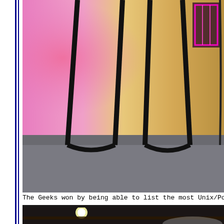[Figure (photo): Close-up photo showing legs of a bar stool or stand against a colorful pink/orange lit background with neon pink lights visible in the upper right corner, on a gray carpeted floor.]
The Geeks won by being able to list the most Unix/Posix
[Figure (photo): Photo of a person with face paint — half black, half white — smiling at the camera. A bright light is visible in the background against a dark ceiling. The person appears to be at an event.]